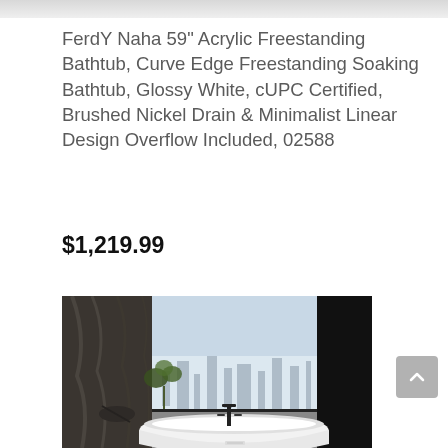[Figure (photo): Partial top strip of a product image, grey/white gradient]
FerdY Naha 59" Acrylic Freestanding Bathtub, Curve Edge Freestanding Soaking Bathtub, Glossy White, cUPC Certified, Brushed Nickel Drain & Minimalist Linear Design Overflow Included, 02588
$1,219.99
[Figure (photo): Product photo of a white freestanding bathtub in a modern bathroom with dark curtains, a large window, outdoor city view, and black faucet. Dark right wall panel visible.]